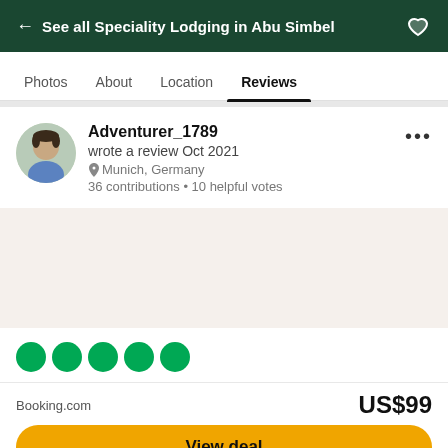← See all Speciality Lodging in Abu Simbel
Photos  About  Location  Reviews
Adventurer_1789
wrote a review Oct 2021
Munich, Germany
36 contributions • 10 helpful votes
[Figure (photo): Circular avatar photo of a man in a blue shirt]
US$99
Booking.com
View deal